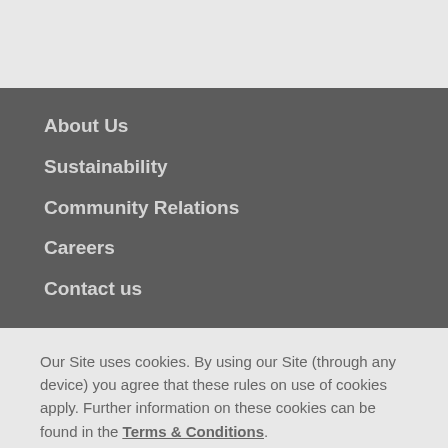About Us
Sustainability
Community Relations
Careers
Contact us
Our Site uses cookies. By using our Site (through any device) you agree that these rules on use of cookies apply. Further information on these cookies can be found in the Terms & Conditions.
YES, I ACCEPT